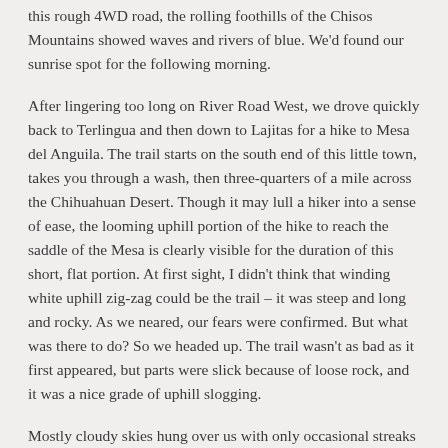this rough 4WD road, the rolling foothills of the Chisos Mountains showed waves and rivers of blue. We'd found our sunrise spot for the following morning.
After lingering too long on River Road West, we drove quickly back to Terlingua and then down to Lajitas for a hike to Mesa del Anguila. The trail starts on the south end of this little town, takes you through a wash, then three-quarters of a mile across the Chihuahuan Desert. Though it may lull a hiker into a sense of ease, the looming uphill portion of the hike to reach the saddle of the Mesa is clearly visible for the duration of this short, flat portion. At first sight, I didn't think that winding white uphill zig-zag could be the trail – it was steep and long and rocky. As we neared, our fears were confirmed. But what was there to do? So we headed up. The trail wasn't as bad as it first appeared, but parts were slick because of loose rock, and it was a nice grade of uphill slogging.
Mostly cloudy skies hung over us with only occasional streaks of blue, and I wondered if this trek would be worth the effort to be cut to rest. About half an ounce to th...